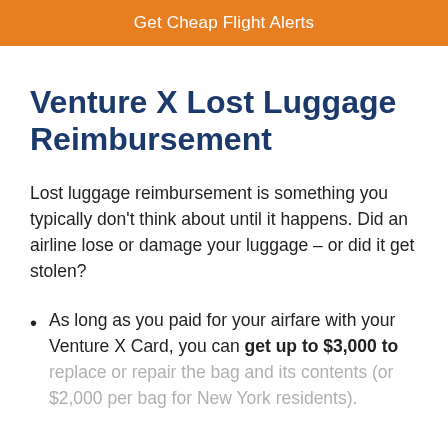Get Cheap Flight Alerts
Venture X Lost Luggage Reimbursement
Lost luggage reimbursement is something you typically don't think about until it happens. Did an airline lose or damage your luggage – or did it get stolen?
As long as you paid for your airfare with your Venture X Card, you can get up to $3,000 to replace or repair the bag and its contents (or $2,000 per bag for New York residents).